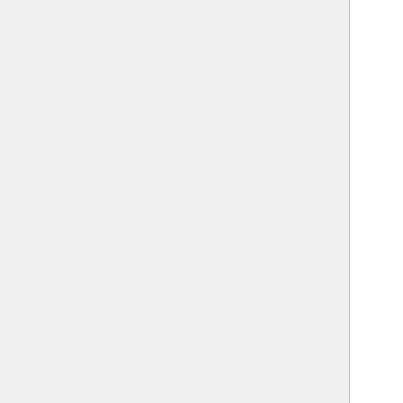JSON/code fragment showing object structure with fields: 've', 'cl', closing brace, '},{', '@class':'I', 'header':{', 'target':{', '@c', 'he', 'ip', 'ho', 'do', 'ma', 'br', closing braces, '],' , '"isRelatedTo":[', '{', '@class':'H', 'header':{', 'propagatio', 'ad', 're', '},' , 'target':{', '@c', 'he', closing brace, closing brace, ']', closing brace